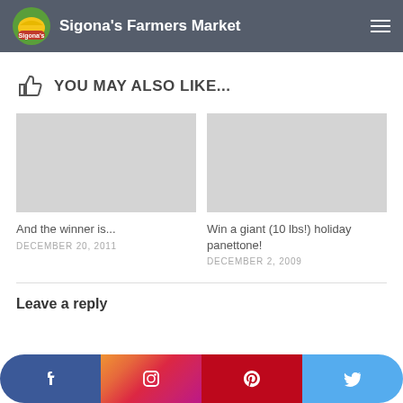Sigona's Farmers Market
YOU MAY ALSO LIKE...
[Figure (photo): Gray placeholder image for 'And the winner is...' article]
And the winner is...
DECEMBER 20, 2011
[Figure (photo): Gray placeholder image for 'Win a giant (10 lbs!) holiday panettone!' article]
Win a giant (10 lbs!) holiday panettone!
DECEMBER 2, 2009
Leave a reply
Facebook | Instagram | Pinterest | Twitter social share buttons